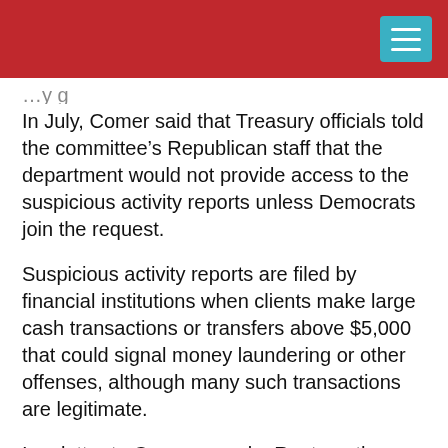In July, Comer said that Treasury officials told the committee’s Republican staff that the department would not provide access to the suspicious activity reports unless Democrats join the request.
Suspicious activity reports are filed by financial institutions when clients make large cash transactions or transfers above $5,000 that could signal money laundering or other offenses, although many such transactions are legitimate.
In a letter to Comer seen by Reuters, the Treasury said such reports are normally kept confidential, but that it complies with current statutes and regulations on providing requested information to Congress. Such access would require written requests from committees, but Treasury Secretary Janet Yellen has the final say.